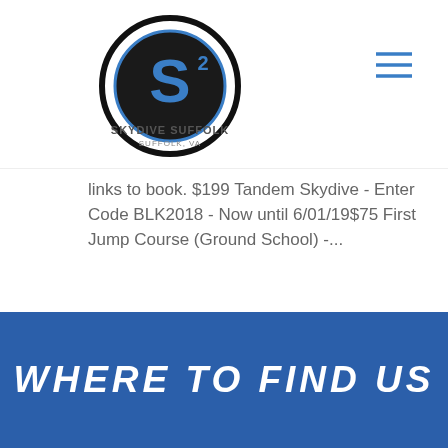[Figure (logo): Skydive Suffolk logo — circular emblem with stylized S2 letter mark and 'SKYDIVE SUFFOLK' text below]
links to book. $199 Tandem Skydive - Enter Code BLK2018 - Now until 6/01/19$75 First Jump Course (Ground School) -...
READ MORE
« Older Entries
Next Entries »
WHERE TO FIND US